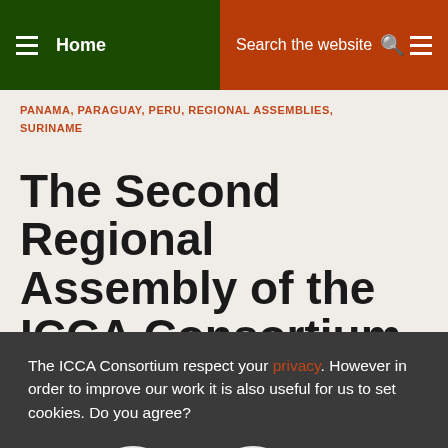Home | Search the website
PANAMA, PARAGUAY, PERU, REGIONAL ASSEMBLIES, SURINAME
The Second Regional Assembly of the ICCA Consortium in Latin America
The ICCA Consortium respect your privacy. However in order to improve our work it is also useful for us to set cookies. Do you agree?
YES | NO